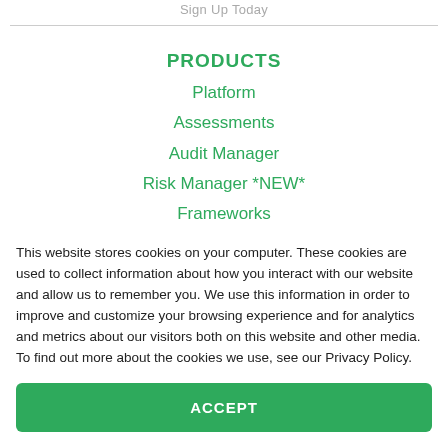Sign Up Today
PRODUCTS
Platform
Assessments
Audit Manager
Risk Manager *NEW*
Frameworks
Connections
This website stores cookies on your computer. These cookies are used to collect information about how you interact with our website and allow us to remember you. We use this information in order to improve and customize your browsing experience and for analytics and metrics about our visitors both on this website and other media. To find out more about the cookies we use, see our Privacy Policy.
ACCEPT